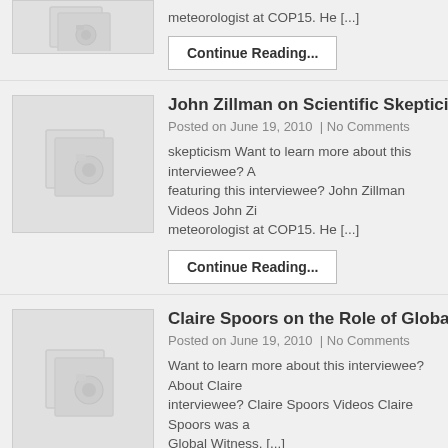[Figure (illustration): Placeholder thumbnail with camera/document icon]
meteorologist at COP15. He [...]
Continue Reading...
[Figure (illustration): Placeholder thumbnail with camera/document icon]
John Zillman on Scientific Skepticism
Posted on June 19, 2010  | No Comments
skepticism Want to learn more about this interviewee? A featuring this interviewee? John Zillman Videos John Zi meteorologist at COP15. He [...]
Continue Reading...
[Figure (illustration): Placeholder thumbnail with camera/document icon]
Claire Spoors on the Role of Global Wi
Posted on June 19, 2010  | No Comments
Want to learn more about this interviewee? About Claire interviewee? Claire Spoors Videos Claire Spoors was a Global Witness. [...]
Continue Reading...